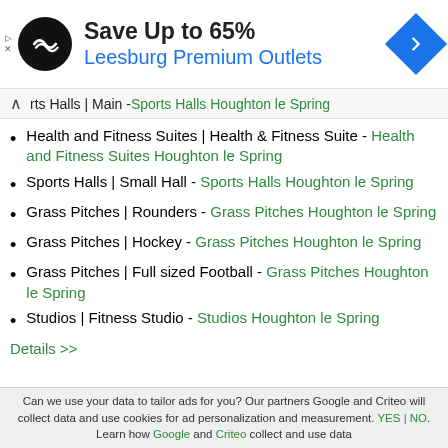[Figure (logo): Advertisement banner with black circle logo, 'Save Up to 65%' heading, 'Leesburg Premium Outlets' subtitle in blue, and blue diamond navigation icon on right]
rts Halls | Main - Sports Halls Houghton le Spring
Health and Fitness Suites | Health & Fitness Suite - Health and Fitness Suites Houghton le Spring
Sports Halls | Small Hall - Sports Halls Houghton le Spring
Grass Pitches | Rounders - Grass Pitches Houghton le Spring
Grass Pitches | Hockey - Grass Pitches Houghton le Spring
Grass Pitches | Full sized Football - Grass Pitches Houghton le Spring
Studios | Fitness Studio - Studios Houghton le Spring
Details >>
Can we use your data to tailor ads for you? Our partners Google and Criteo will collect data and use cookies for ad personalization and measurement. YES | NO. Learn how Google and Criteo collect and use data